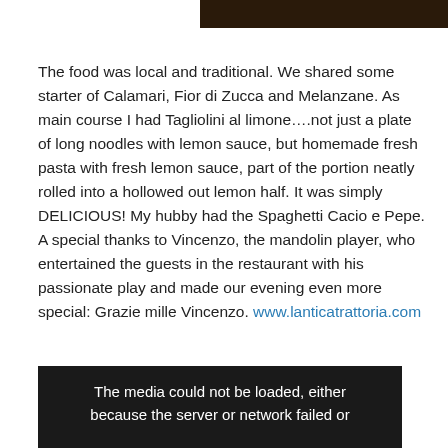[Figure (photo): Partial dark brown restaurant interior photo visible at the top right of the page]
The food was local and traditional. We shared some starter of Calamari, Fior di Zucca and Melanzane. As main course I had Tagliolini al limone….not just a plate of long noodles with lemon sauce, but homemade fresh pasta with fresh lemon sauce, part of the portion neatly rolled into a hollowed out lemon half. It was simply DELICIOUS! My hubby had the Spaghetti Cacio e Pepe. A special thanks to Vincenzo, the mandolin player, who entertained the guests in the restaurant with his passionate play and made our evening even more special: Grazie mille Vincenzo. www.lanticatrattoria.com
[Figure (photo): Dark media player screenshot with text overlay: 'The media could not be loaded, either because the server or network failed or']